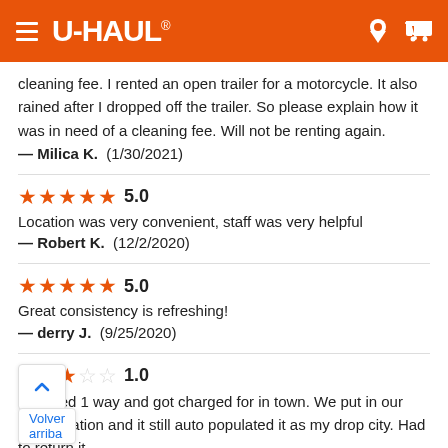U-HAUL
cleaning fee. I rented an open trailer for a motorcycle. It also rained after I dropped off the trailer. So please explain how it was in need of a cleaning fee. Will not be renting again.
— Milica K.  (1/30/2021)
★★★★★ 5.0
Location was very convenient, staff was very helpful
— Robert K.  (12/2/2020)
★★★★★ 5.0
Great consistency is refreshing!
— derry J.  (9/25/2020)
★☆☆☆☆ 1.0
Selected 1 way and got charged for in town. We put in our drop location and it still auto populated it as my drop city. Had to return it